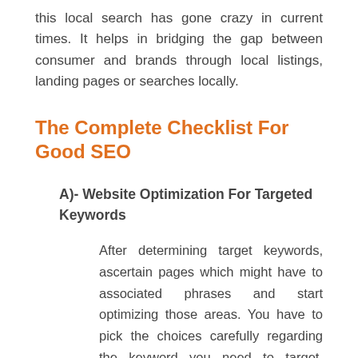this local search has gone crazy in current times. It helps in bridging the gap between consumer and brands through local listings, landing pages or searches locally.
The Complete Checklist For Good SEO
A)- Website Optimization For Targeted Keywords
After determining target keywords, ascertain pages which might have to associated phrases and start optimizing those areas. You have to pick the choices carefully regarding the keyword you need to target. Procuring various pages is not